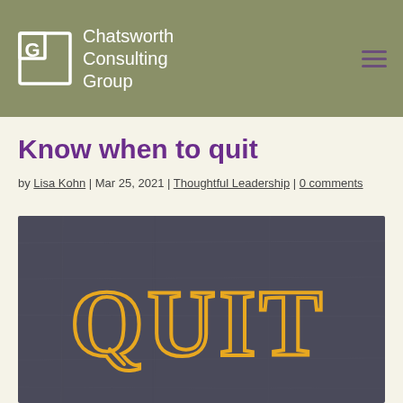Chatsworth Consulting Group
Know when to quit
by Lisa Kohn | Mar 25, 2021 | Thoughtful Leadership | 0 comments
[Figure (photo): Chalkboard image with the word QUIT written in yellow outline letters on a dark slate background]